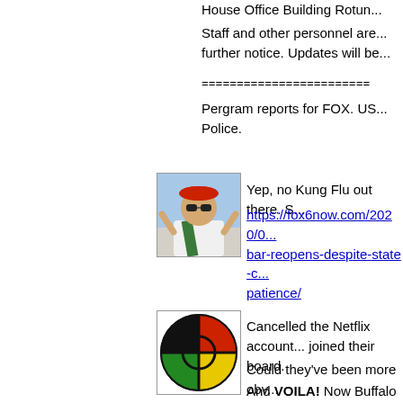House Office Building Rotun...
Staff and other personnel are... further notice. Updates will be...
========================
Pergram reports for FOX. US... Police.
[Figure (photo): Avatar image of a person in military-style uniform with sunglasses]
Yep, no Kung Flu out there. S...
https://fox6now.com/2020/0... bar-reopens-despite-state-c... patience/
[Figure (logo): Circular logo with black, red, yellow and green sections]
Cancelled the Netflix account... joined their board.
Could they've been more obv...
And VOILA! Now Buffalo Butt... Gee. Think it will win some aw...